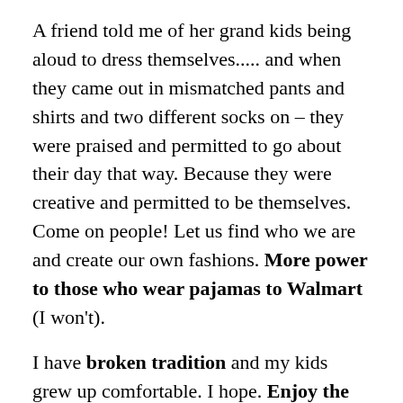A friend told me of her grand kids being aloud to dress themselves..... and when they came out in mismatched pants and shirts and two different socks on – they were praised and permitted to go about their day that way. Because they were creative and permitted to be themselves. Come on people! Let us find who we are and create our own fashions. More power to those who wear pajamas to Walmart (I won't).
I have broken tradition and my kids grew up comfortable. I hope. Enjoy the summer months dear readers. And enjoy being yourself. Don't know yet what you like? You